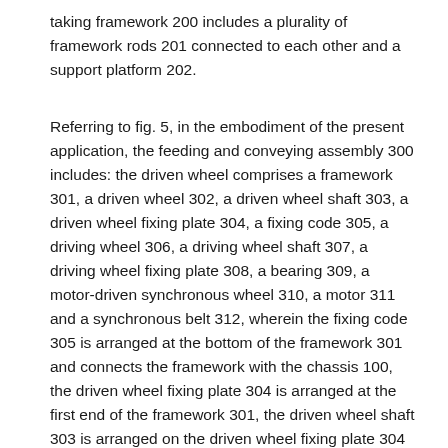taking framework 200 includes a plurality of framework rods 201 connected to each other and a support platform 202.
Referring to fig. 5, in the embodiment of the present application, the feeding and conveying assembly 300 includes: the driven wheel comprises a framework 301, a driven wheel 302, a driven wheel shaft 303, a driven wheel fixing plate 304, a fixing code 305, a driving wheel 306, a driving wheel shaft 307, a driving wheel fixing plate 308, a bearing 309, a motor-driven synchronous wheel 310, a motor 311 and a synchronous belt 312, wherein the fixing code 305 is arranged at the bottom of the framework 301 and connects the framework with the chassis 100, the driven wheel fixing plate 304 is arranged at the first end of the framework 301, the driven wheel shaft 303 is arranged on the driven wheel fixing plate 304 and connects with the driven wheel shaft 303, the driving wheel fixing plate 308 is arranged at the second end of the framework 301, the driving wheel shaft 307 is arranged on the driving wheel fixing plate 308 and connects with the driving wheel shaft 307, the bearing 309 is sleeved on the driving wheel shaft 307 and connects with the driving wheel fixing plate 308.